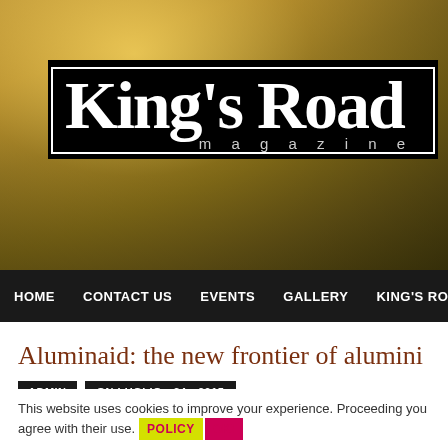[Figure (photo): Hero background image: concert/event scene with silhouettes under warm golden/amber stage lighting, misty atmosphere]
KING'S ROAD magazine
HOME  CONTACT US  EVENTS  GALLERY  KING'S ROAD
Aluminaid: the new frontier of alumini
ADMIN  ON LUGLIO - 24 - 2015
This website uses cookies to improve your experience. Proceeding you agree with their use. POLICY  OK!